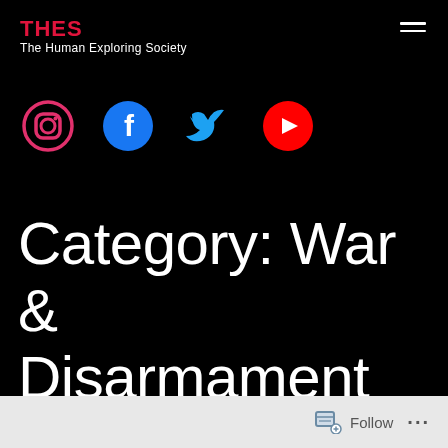THES — The Human Exploring Society
[Figure (other): Social media icons row: Instagram (pink outline), Facebook (blue circle), Twitter (blue bird), YouTube (red circle)]
Category: War & Disarmament
Follow ...